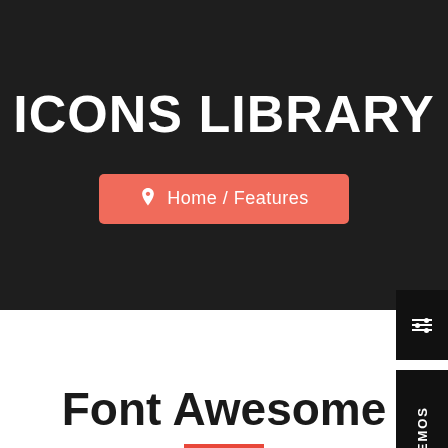ICONS LIBRARY
Home / Features
Font Awesome